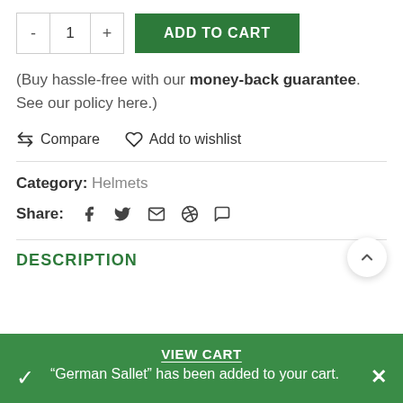- 1 + ADD TO CART
(Buy hassle-free with our money-back guarantee. See our policy here.)
Compare   Add to wishlist
Category: Helmets
Share:
DESCRIPTION
VIEW CART
"German Sallet" has been added to your cart.